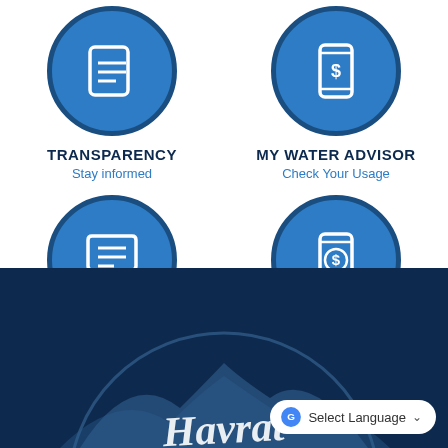[Figure (infographic): Blue circle icon with speech/comment bubble icon representing Transparency - Stay informed]
TRANSPARENCY
Stay informed
[Figure (infographic): Blue circle icon with smartphone and dollar sign representing My Water Advisor - Check Your Usage]
MY WATER ADVISOR
Check Your Usage
[Figure (infographic): Blue circle icon with speech/comment bubble lines representing Report A Problem - Submit a service request]
REPORT A PROBLEM
Submit a service request
[Figure (infographic): Blue circle icon with smartphone and dollar sign representing Bill Pay - Utility bill pay]
BILL PAY
Utility bill pay
[Figure (logo): City logo on dark navy background - script text partially visible reading Haverst or similar city name]
Select Language